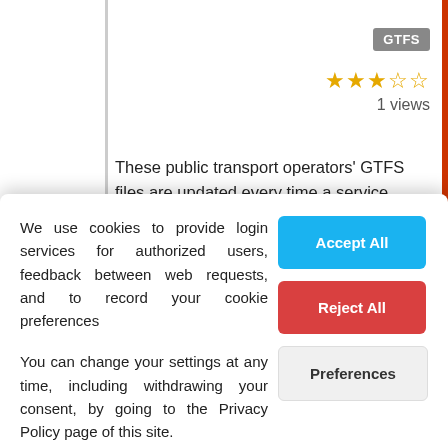GTFS
★★★☆☆ 1 views
These public transport operators' GTFS files are updated every time a service timetable is changed. If there was a previous version it will be over written. The validity period for each operator's Schedule is declared in the appropriate manner within in the individual GTFS...
We use cookies to provide login services for authorized users, feedback between web requests, and to record your cookie preferences
You can change your settings at any time, including withdrawing your consent, by going to the Privacy Policy page of this site.
Accept All
Reject All
Preferences
updated every time a service timetable is changed. If there was a previous version it will be over written.